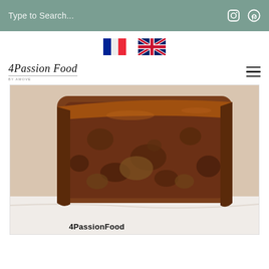Type to Search...
[Figure (illustration): French flag and UK flag icons for language selection]
[Figure (logo): 4PassionFood script logo with tagline]
[Figure (photo): Close-up cross-section of a dark walnut or fruit loaf cake on a marble surface with '4PassionFood' watermark text at the bottom left]